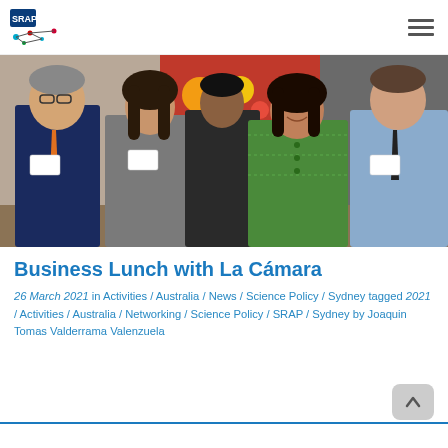SRAP logo and navigation menu
[Figure (photo): Group photo of five people standing together at a formal event. From left: older man in navy suit with orange tie and name badge; woman in grey blazer with name badge; man in dark suit partially visible in background; woman in green tweed blazer smiling; man in light blue suit with dark tie and name badge. A colorful Aboriginal art banner is visible in the background.]
Business Lunch with La Cámara
26 March 2021  in Activities / Australia / News / Science Policy / Sydney  tagged 2021 / Activities / Australia / Networking / Science Policy / SRAP / Sydney by Joaquin Tomas Valderrama Valenzuela